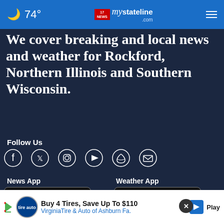74° mystateline.com
We cover breaking and local news and weather for Rockford, Northern Illinois and Southern Wisconsin.
Follow Us
[Figure (infographic): Social media icons row: Facebook, Twitter, Instagram, YouTube, RSS, Email]
News App
Weather App
[Figure (screenshot): Download on the App Store button for News App]
[Figure (screenshot): Download on the App Store button for Weather App]
[Figure (infographic): Ad banner: Buy 4 Tires, Save Up To $110 - Virginia Tire & Auto of Ashburn Fa.]